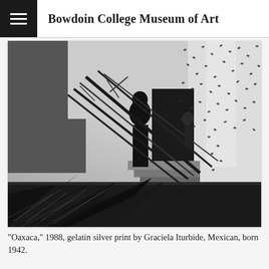Bowdoin College Museum of Art
[Figure (photo): Black and white gelatin silver print photograph titled 'Oaxaca' (1988) by Graciela Iturbide. The image shows a silhouetted figure carrying large branches or reeds, standing near white-walled structures. The walls are covered with what appear to be insects (locusts). In the foreground, large agave or palm leaves are visible. The scene is dramatic and surreal, high-contrast black and white photography.]
"Oaxaca," 1988, gelatin silver print by Graciela Iturbide, Mexican, born 1942.